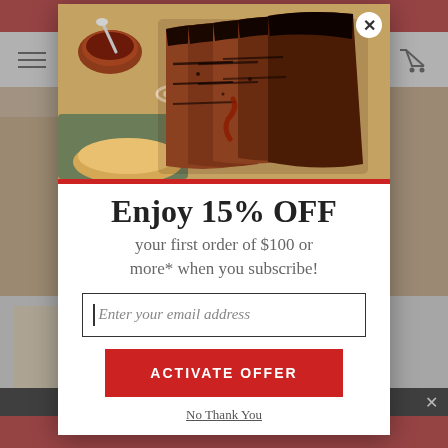[Figure (screenshot): Background website with red top/bottom bars, navigation bar with hamburger menu and cart icon, product listing with images and text]
[Figure (photo): Grilled brisket/BBQ meat sliced on a cutting board with BBQ sauce, onion rings, banana peppers, and a sauce bowl]
Enjoy 15% OFF
your first order of $100 or more* when you subscribe!
Enter your email address
ACTIVATE OFFER
No Thank You